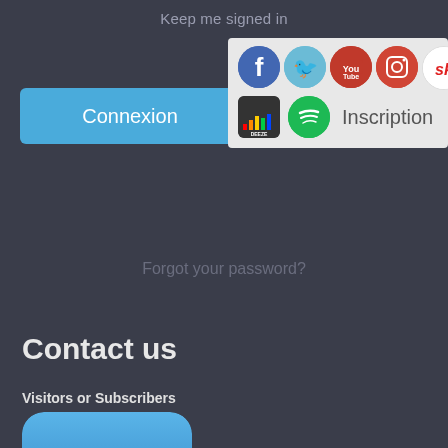Keep me signed in
[Figure (screenshot): Dropdown with social media icons: Facebook, Twitter, YouTube, Instagram, Songkick, Deezer, Spotify; Inscription button]
Connexion
Forgot your password?
Contact us
Visitors or Subscribers
[Figure (screenshot): Mail/email app icon with envelope on blue gradient background]